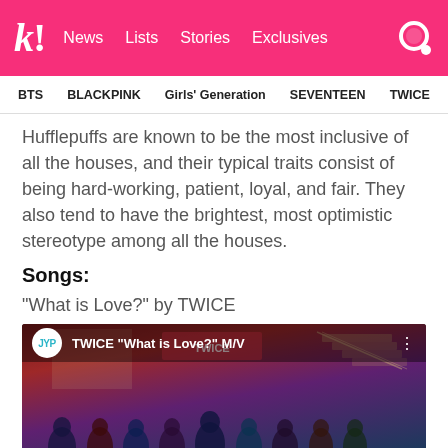k! News Lists Stories Exclusives
BTS BLACKPINK Girls' Generation SEVENTEEN TWICE
Hufflepuffs are known to be the most inclusive of all the houses, and their typical traits consist of being hard-working, patient, loyal, and fair. They also tend to have the brightest, most optimistic stereotype among all the houses.
Songs:
“What is Love?” by TWICE
[Figure (screenshot): YouTube video thumbnail for TWICE 'What is Love?' M/V showing JYP logo circle, video title text, and group photo of TWICE members on a decorative staircase set]